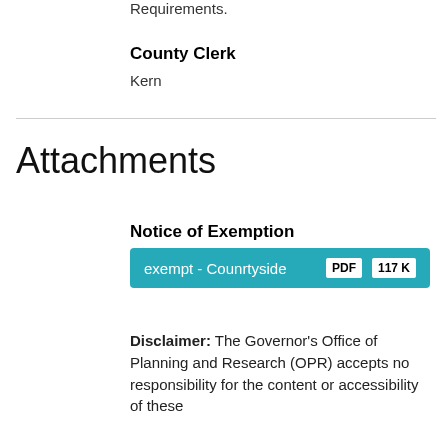Requirements.
County Clerk
Kern
Attachments
Notice of Exemption
exempt - Counrtyside  PDF  117 K
Disclaimer: The Governor's Office of Planning and Research (OPR) accepts no responsibility for the content or accessibility of these